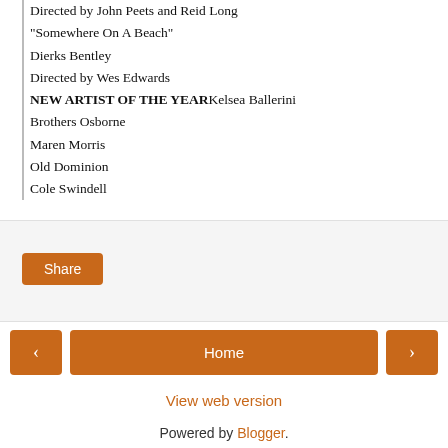Directed by John Peets and Reid Long
"Somewhere On A Beach"
Dierks Bentley
Directed by Wes Edwards
NEW ARTIST OF THE YEARKelsea Ballerini
Brothers Osborne
Maren Morris
Old Dominion
Cole Swindell
Share
< Home >
View web version
Powered by Blogger.